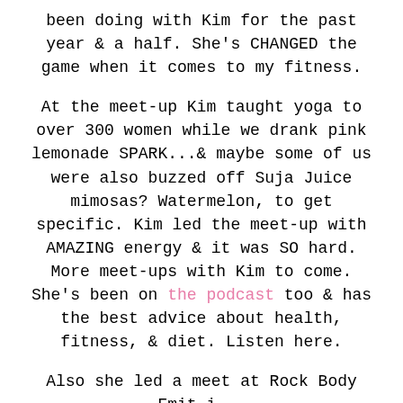been doing with Kim for the past year & a half. She's CHANGED the game when it comes to my fitness.

At the meet-up Kim taught yoga to over 300 women while we drank pink lemonade SPARK...& maybe some of us were also buzzed off Suja Juice mimosas? Watermelon, to get specific. Kim led the meet-up with AMAZING energy & it was SO hard. More meet-ups with Kim to come. She's been on the podcast too & has the best advice about health, fitness, & diet. Listen here.

Also she led a meet at Rock Body Emit...